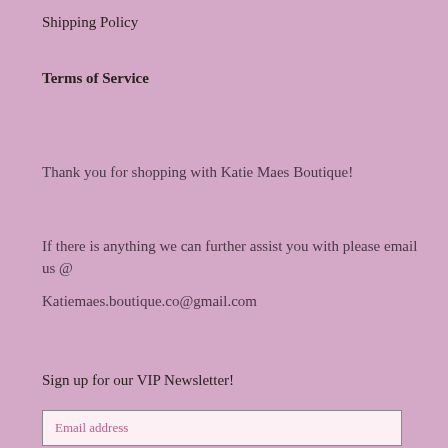Shipping Policy
Terms of Service
Thank you for shopping with Katie Maes Boutique!
If there is anything we can further assist you with please email us @ Katiemaes.boutique.co@gmail.com
Sign up for our VIP Newsletter!
Email address